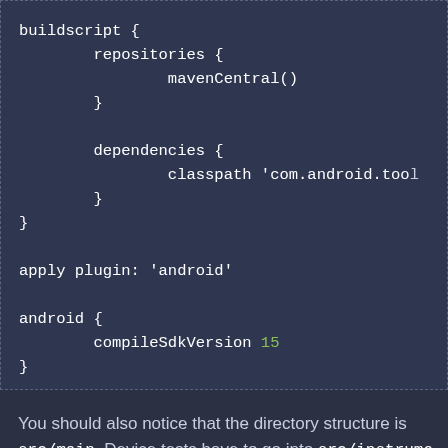[Figure (screenshot): Code block showing a Gradle build script with buildscript, repositories, mavenCentral(), dependencies, classpath, apply plugin android, android block with compileSdkVersion 15]
You should also notice that the directory structure is src/main. Device tests have to go into src/instrume
Finally create a new file local.properties and put s